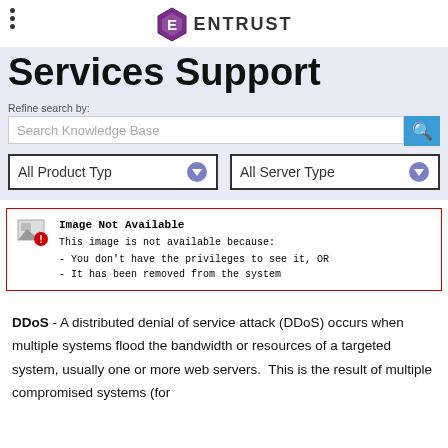ENTRUST
Services Support
Refine search by:
Search Knowledge Base
All Product Type
All Server Type
[Figure (screenshot): Image Not Available box with red border. States: 'Image Not Available. This image is not available because: - You don't have the privileges to see it, OR - It has been removed from the system']
DDoS - A distributed denial of service attack (DDoS) occurs when multiple systems flood the bandwidth or resources of a targeted system, usually one or more web servers. This is the result of multiple compromised systems (for